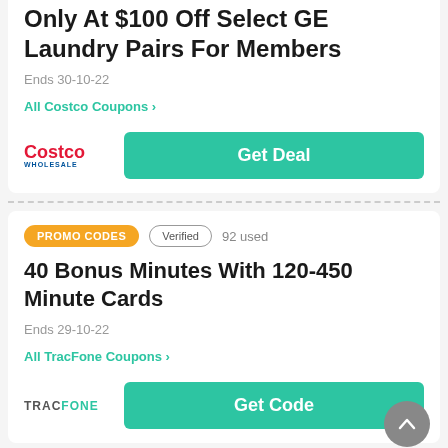Only At $100 Off Select GE Laundry Pairs For Members
Ends 30-10-22
All Costco Coupons >
Get Deal
PROMO CODES  Verified  92 used
40 Bonus Minutes With 120-450 Minute Cards
Ends 29-10-22
All TracFone Coupons >
Get Code
DEALS  Verified  95 used